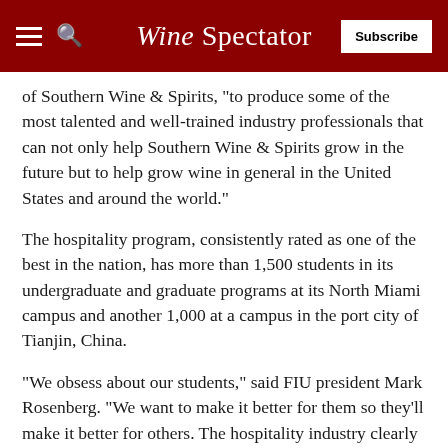Wine Spectator
of Southern Wine & Spirits, "to produce some of the most talented and well-trained industry professionals that can not only help Southern Wine & Spirits grow in the future but to help grow wine in general in the United States and around the world."
The hospitality program, consistently rated as one of the best in the nation, has more than 1,500 students in its undergraduate and graduate programs at its North Miami campus and another 1,000 at a campus in the port city of Tianjin, China.
“We obsess about our students," said FIU president Mark Rosenberg. "We want to make it better for them so they’ll make it better for others. The hospitality industry clearly looks to us and looks to our students."